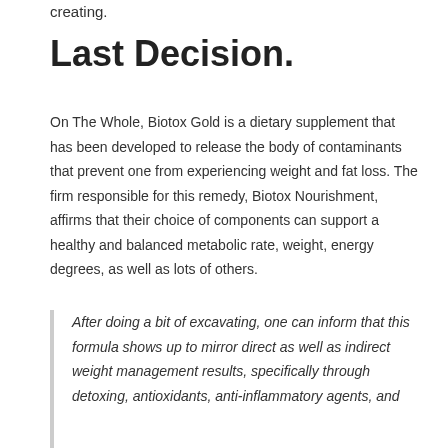creating.
Last Decision.
On The Whole, Biotox Gold is a dietary supplement that has been developed to release the body of contaminants that prevent one from experiencing weight and fat loss. The firm responsible for this remedy, Biotox Nourishment, affirms that their choice of components can support a healthy and balanced metabolic rate, weight, energy degrees, as well as lots of others.
After doing a bit of excavating, one can inform that this formula shows up to mirror direct as well as indirect weight management results, specifically through detoxing, antioxidants, anti-inflammatory agents, and